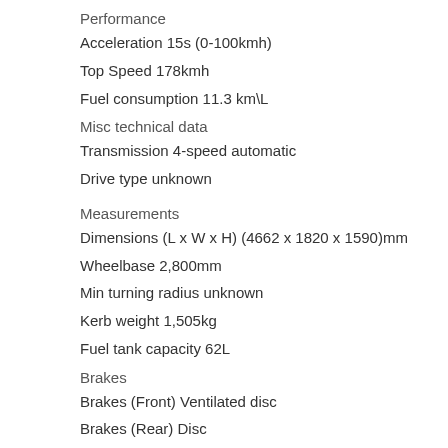Performance
Acceleration 15s (0-100kmh)
Top Speed 178kmh
Fuel consumption 11.3 km\L
Misc technical data
Transmission 4-speed automatic
Drive type unknown
Measurements
Dimensions (L x W x H) (4662 x 1820 x 1590)mm
Wheelbase 2,800mm
Min turning radius unknown
Kerb weight 1,505kg
Fuel tank capacity 62L
Brakes
Brakes (Front) Ventilated disc
Brakes (Rear) Disc
Suspension
Suspension (Front) Independent MacPherson strut with cylindrical coil spring, dual-acting tube damper and anti-roll bar
Suspension (Rear) Independent Multi-link type with cylindrical